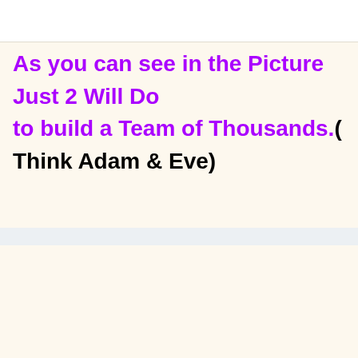As you can see in the Picture Just 2 Will Do to build a Team of Thousands.( Think Adam & Eve)